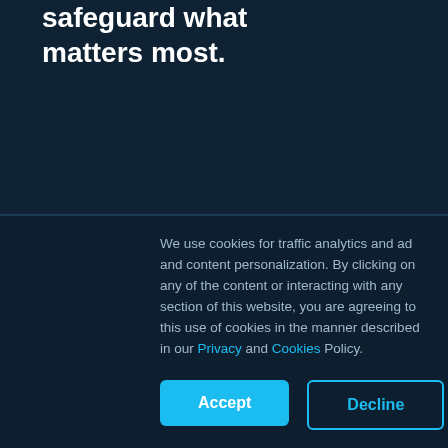safeguard what matters most.
Join Our Team
Platform
Deployment
Integration
Use Cases
Risk Visibility
Company
Leadership
News
Press Releases
Events
Careers
Support
Contact Us
Solutions
We use cookies for traffic analytics and ad and content personalization. By clicking on any of the content or interacting with any section of this website, you are agreeing to this use of cookies in the manner described in our Privacy and Cookies Policy.
Accept
Decline